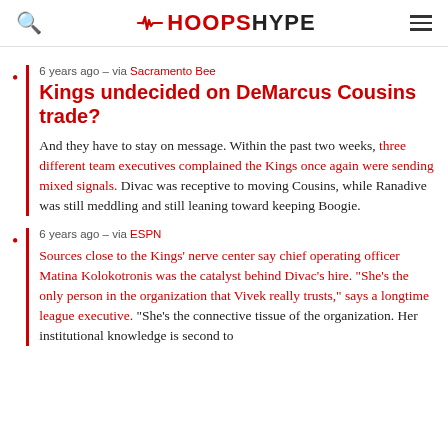HoopsHype
6 years ago – via Sacramento Bee
Kings undecided on DeMarcus Cousins trade?
And they have to stay on message. Within the past two weeks, three different team executives complained the Kings once again were sending mixed signals. Divac was receptive to moving Cousins, while Ranadive was still meddling and still leaning toward keeping Boogie.
6 years ago – via ESPN
Sources close to the Kings' nerve center say chief operating officer Matina Kolokotronis was the catalyst behind Divac's hire. "She's the only person in the organization that Vivek really trusts," says a longtime league executive. "She's the connective tissue of the organization. Her institutional knowledge is second to